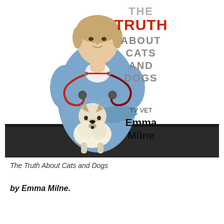[Figure (photo): Book cover showing a female veterinarian in blue scrubs with a red stethoscope, arms crossed, standing behind a wire fox terrier dog on a dark examination table. The title reads 'THE TRUTH ABOUT CATS AND DOGS' with TRUTH in red. Below the title it says 'TV VET Emma Milne'.]
The Truth About Cats and Dogs
by Emma Milne.